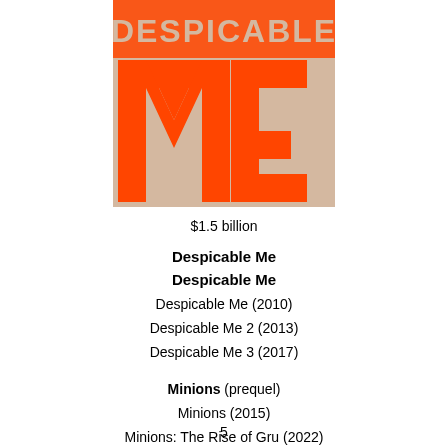[Figure (illustration): Despicable Me movie poster showing large orange block letters 'ME' on a beige/tan background, with partial 'DESPICABLE' text at top cropped]
$1.5 billion
Despicable Me
Despicable Me
Despicable Me (2010)
Despicable Me 2 (2013)
Despicable Me 3 (2017)
Minions (prequel)
Minions (2015)
Minions: The Rise of Gru (2022)
5